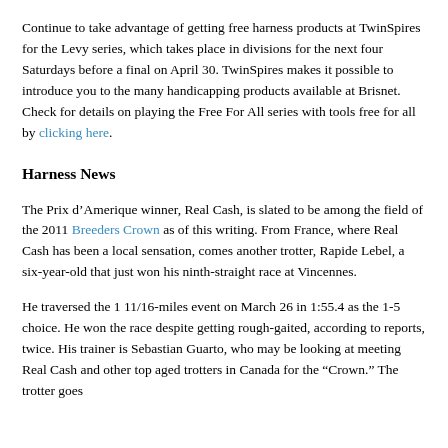Continue to take advantage of getting free harness products at TwinSpires for the Levy series, which takes place in divisions for the next four Saturdays before a final on April 30. TwinSpires makes it possible to introduce you to the many handicapping products available at Brisnet. Check for details on playing the Free For All series with tools free for all by clicking here.
Harness News
The Prix d'Amerique winner, Real Cash, is slated to be among the field of the 2011 Breeders Crown as of this writing. From France, where Real Cash has been a local sensation, comes another trotter, Rapide Lebel, a six-year-old that just won his ninth-straight race at Vincennes.
He traversed the 1 11/16-miles event on March 26 in 1:55.4 as the 1-5 choice. He won the race despite getting rough-gaited, according to reports, twice. His trainer is Sebastian Guarto, who may be looking at meeting Real Cash and other top aged trotters in Canada for the "Crown." The trotter goes